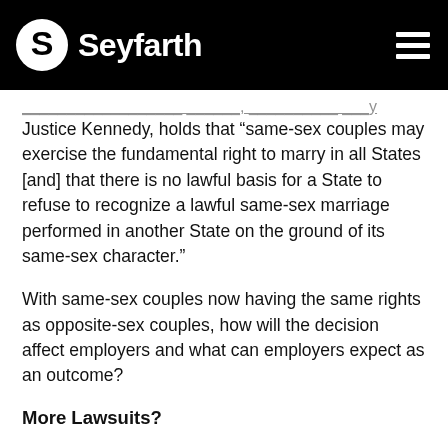Seyfarth
Justice Kennedy, holds that “same-sex couples may exercise the fundamental right to marry in all States [and] that there is no lawful basis for a State to refuse to recognize a lawful same-sex marriage performed in another State on the ground of its same-sex character.”
With same-sex couples now having the same rights as opposite-sex couples, how will the decision affect employers and what can employers expect as an outcome?
More Lawsuits?